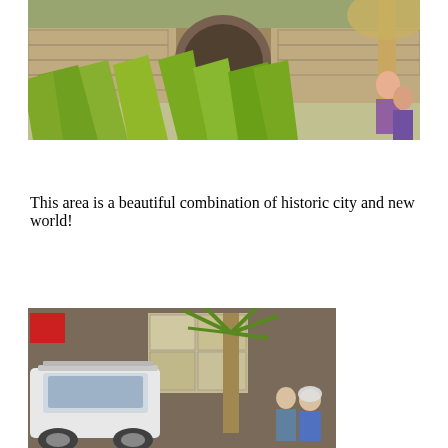[Figure (photo): Outdoor scene showing stone architecture with an arched alcove, surrounded by large green agave or aloe plants, with a palm tree on the right and people visible in the background on the right side.]
This area is a beautiful combination of historic city and new world!
[Figure (photo): Street scene showing a white SUV parked near a palm tree, with stone buildings in the background and people including someone wearing a helmet visible on the right.]